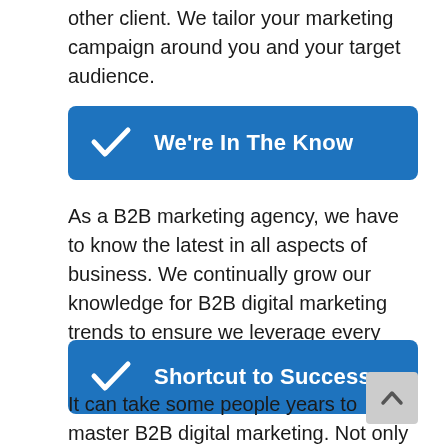other client. We tailor your marketing campaign around you and your target audience.
We're In The Know
As a B2B marketing agency, we have to know the latest in all aspects of business. We continually grow our knowledge for B2B digital marketing trends to ensure we leverage every opportunity to increase your leads.
Shortcut to Success
It can take some people years to master B2B digital marketing. Not only are we a B2B